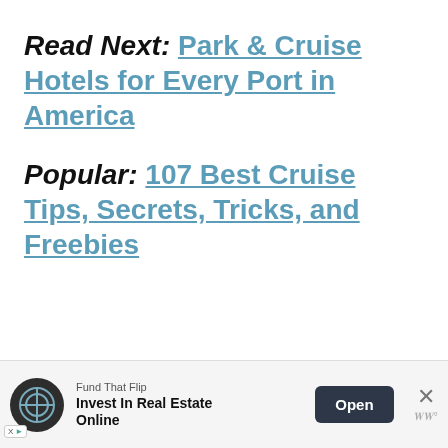Read Next: Park & Cruise Hotels for Every Port in America
Popular: 107 Best Cruise Tips, Secrets, Tricks, and Freebies
[Figure (other): Advertisement banner at the bottom of the page. Shows Fund That Flip ad with circular logo, headline 'Invest In Real Estate Online', an 'Open' button, and a close X button.]